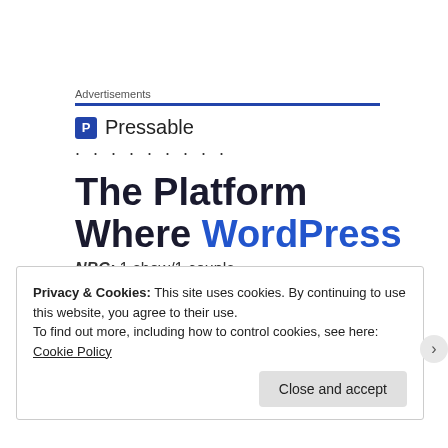Advertisements
[Figure (logo): Pressable logo with blue P icon and text 'Pressable']
The Platform Where WordPress
NBC: 1 show/1 couple
Privacy & Cookies: This site uses cookies. By continuing to use this website, you agree to their use. To find out more, including how to control cookies, see here: Cookie Policy
Close and accept